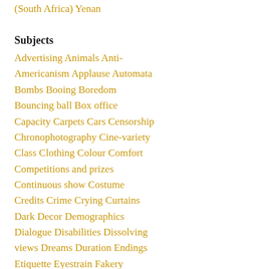(South Africa) Yenan
Subjects
Advertising Animals Anti-Americanism Applause Automata
Bombs Booing Boredom
Bouncing ball Box office
Capacity Carpets Cars Censorship
Chronophotography Cine-variety
Class Clothing Colour Comfort
Competitions and prizes
Continuous show Costume
Credits Crime Crying Curtains
Dark Decor Demographics
Dialogue Disabilities Dissolving views Dreams Duration Endings
Etiquette Eyestrain Fakery
Fantasies Fashion Fear Film